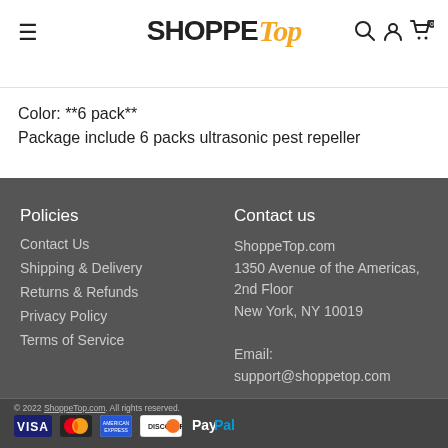ShoppeTop
Color: **6 pack**
Package include 6 packs ultrasonic pest repeller
Policies
Contact Us
Shipping & Delivery
Returns & Refunds
Privacy Policy
Terms of Service
Contact us
ShoppeTop.com
1350 Avenue of the Americas, 2nd Floor
New York, NY 10019

Email:
support@shoppetop.com
© 2022 ShoppeTop.com. All rights reserved.